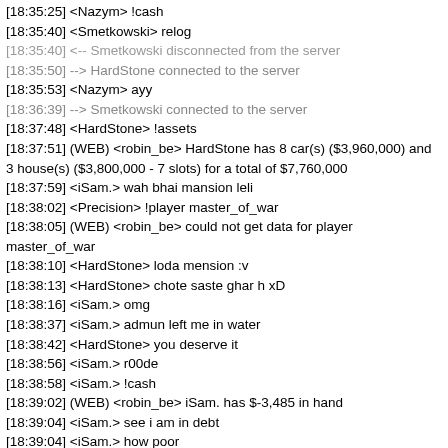[18:35:25] <Nazym> !cash
[18:35:40] <Smetkowski> relog
[18:35:40] <-- Smetkowski disconnected from the server
[18:35:50] --> HardStone connected to the server
[18:35:53] <Nazym> ayy
[18:36:39] --> Smetkowski connected to the server
[18:37:48] <HardStone> !assets
[18:37:51] (WEB) <robin_be> HardStone has 8 car(s) ($3,960,000) and 3 house(s) ($3,800,000 - 7 slots) for a total of $7,760,000
[18:37:59] <iSam.> wah bhai mansion leli
[18:38:02] <Precision> !player master_of_war
[18:38:05] (WEB) <robin_be> could not get data for player master_of_war
[18:38:10] <HardStone> loda mension :v
[18:38:13] <HardStone> chote saste ghar h xD
[18:38:16] <iSam.> omg
[18:38:37] <iSam.> admun left me in water
[18:38:42] <HardStone> you deserve it
[18:38:56] <iSam.> r00de
[18:38:58] <iSam.> !cash
[18:39:02] (WEB) <robin_be> iSam. has $-3,485 in hand
[18:39:04] <iSam.> see i am in debt
[18:39:04] <iSam.> how poor
[18:39:04] <HardStone> rich guy
[18:39:20] <HardStone> !cash iSam